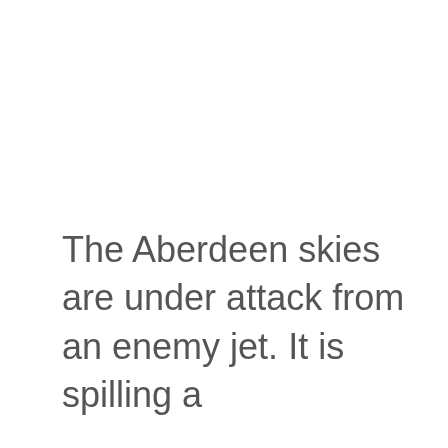The Aberdeen skies are under attack from an enemy jet. It is spilling a